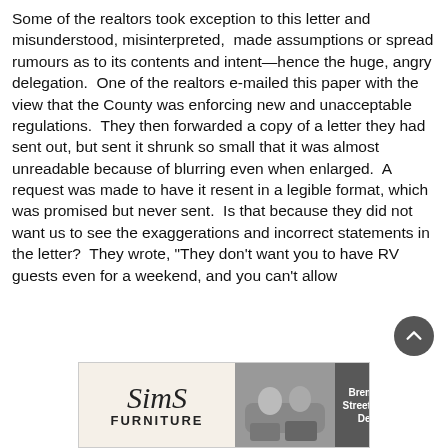Some of the realtors took exception to this letter and misunderstood, misinterpreted, made assumptions or spread rumours as to its contents and intent—hence the huge, angry delegation. One of the realtors e-mailed this paper with the view that the County was enforcing new and unacceptable regulations. They then forwarded a copy of a letter they had sent out, but sent it shrunk so small that it was almost unreadable because of blurring even when enlarged. A request was made to have it resent in a legible format, which was promised but never sent. Is that because they did not want us to see the exaggerations and incorrect statements in the letter? They wrote, "They don't want you to have RV guests even for a weekend, and you can't allow
[Figure (other): Sims Furniture advertisement banner with logo on left and two people sitting on a couch on the right, with text overlay 'Bremner Street, Red Deer']